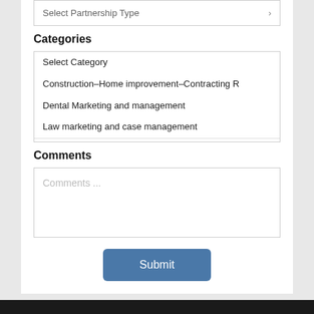Select Partnership Type
Categories
Select Category
Construction–Home improvement–Contracting R
Dental Marketing and management
Law marketing and case management
Comments
Comments ...
Submit